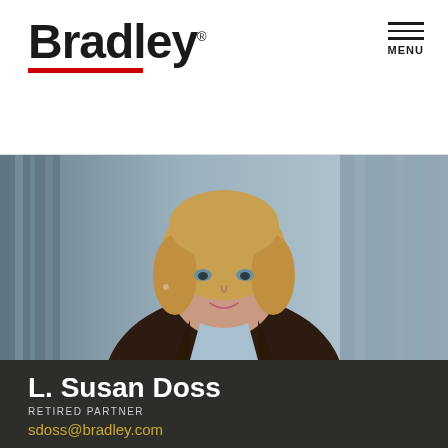[Figure (logo): Bradley law firm logo with bold 'Bradley' text and red underline bar]
[Figure (photo): Professional headshot of L. Susan Doss, a woman with short blonde hair wearing a dark blazer over a light blue shirt, photographed against an urban building background]
L. Susan Doss
RETIRED PARTNER
sdoss@bradley.com